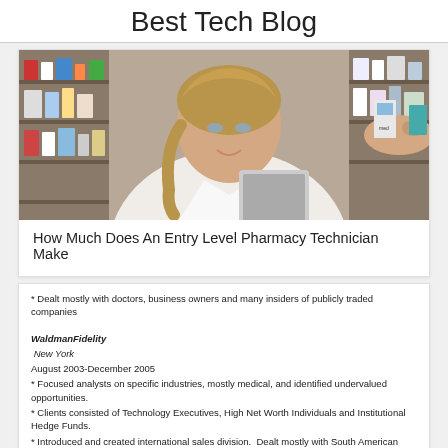Best Tech Blog
[Figure (photo): A female pharmacy technician in a white coat holding a tablet, reaching toward shelves stocked with medicine and pharmaceutical products in a pharmacy setting.]
How Much Does An Entry Level Pharmacy Technician Make
* Dealt mostly with doctors, business owners and many insiders of publicly traded companies
WaldmanFidelity
New York
August 2003-December 2005
* Focused analysts on specific industries, mostly medical, and identified undervalued opportunities.
* Clients consisted of Technology Executives, High Net Worth Individuals and Institutional Hedge Funds.
* Introduced and created international sales division. Dealt mostly with South American clientele.
Yorke Capital
New York
June 1998- July 2003
[Figure (other): A dark close button with text 'CLOSE X' in a chevron/arrow shape]